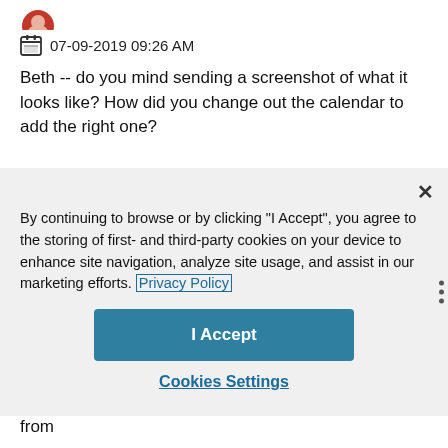[Figure (illustration): Small circular avatar image of a person, partially visible at top]
07-09-2019 09:26 AM
Beth -- do you mind sending a screenshot of what it looks like? How did you change out the calendar to add the right one?
By continuing to browse or by clicking "I Accept", you agree to the storing of first- and third-party cookies on your device to enhance site navigation, analyze site usage, and assist in our marketing efforts. Privacy Policy
I Accept
Cookies Settings
First I deleted the calendar from my Outlook, then, from